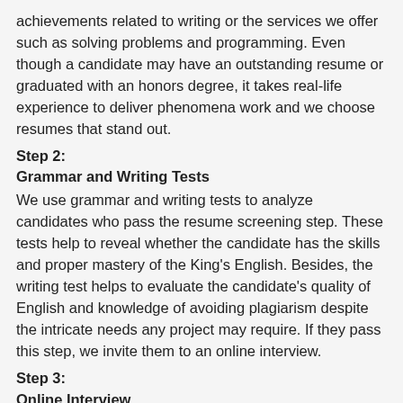achievements related to writing or the services we offer such as solving problems and programming. Even though a candidate may have an outstanding resume or graduated with an honors degree, it takes real-life experience to deliver phenomena work and we choose resumes that stand out.
Step 2:
Grammar and Writing Tests
We use grammar and writing tests to analyze candidates who pass the resume screening step. These tests help to reveal whether the candidate has the skills and proper mastery of the King's English. Besides, the writing test helps to evaluate the candidate's quality of English and knowledge of avoiding plagiarism despite the intricate needs any project may require. If they pass this step, we invite them to an online interview.
Step 3:
Online Interview
Once the candidate passes the first two steps, we interview each one of them to evaluate whether they are as good as their resumes. We know the right questions and thus no candidate's merits and shortcomings will go unnoticed. We pick candidates who are passionate about writing, confident in any formatting style, friendly to our customers, and can work on orders in under 3 hours.
Step 4: